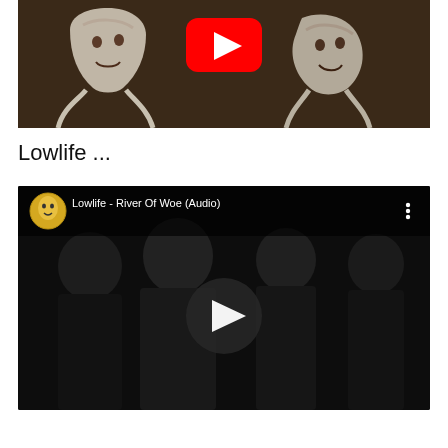[Figure (screenshot): YouTube video thumbnail showing stylized black and white illustration of two faces on dark brown background with red YouTube play button in top center]
Lowlife ...
[Figure (screenshot): YouTube video embed showing Lowlife - River Of Woe (Audio) with black and white photo of four men, YouTube overlay bar at top with avatar and title, and dark play button in center]